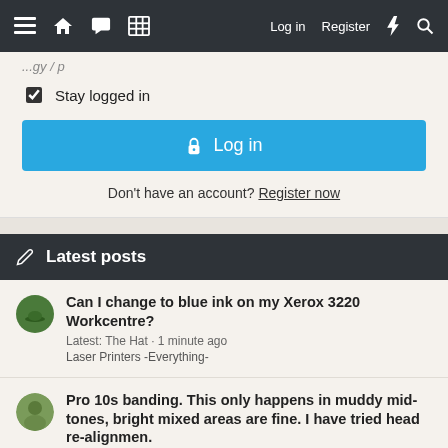Navigation bar with menu, home, chat, grid, Log in, Register icons
Stay logged in
Log in
Don't have an account? Register now
Latest posts
Can I change to blue ink on my Xerox 3220 Workcentre? Latest: The Hat · 1 minute ago Laser Printers -Everything-
Pro 10s banding. This only happens in muddy mid-tones, bright mixed areas are fine. I have tried head re-alignmen. Latest: websnail · 2 minutes ago Canon InkJet Printers
Epson 1500W - Borderless Printing Issue Latest: Ink stained Fingers · 2 minutes ago Epson InkJet Printers